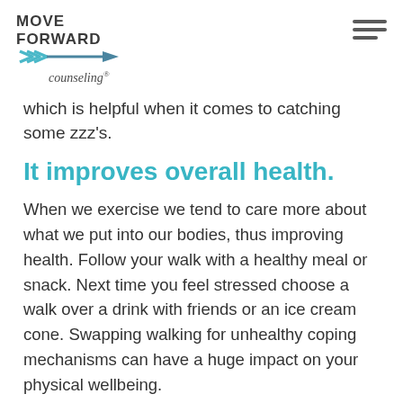Move Forward Counseling logo and navigation
which is helpful when it comes to catching some zzz's.
It improves overall health.
When we exercise we tend to care more about what we put into our bodies, thus improving health. Follow your walk with a healthy meal or snack. Next time you feel stressed choose a walk over a drink with friends or an ice cream cone. Swapping walking for unhealthy coping mechanisms can have a huge impact on your physical wellbeing.